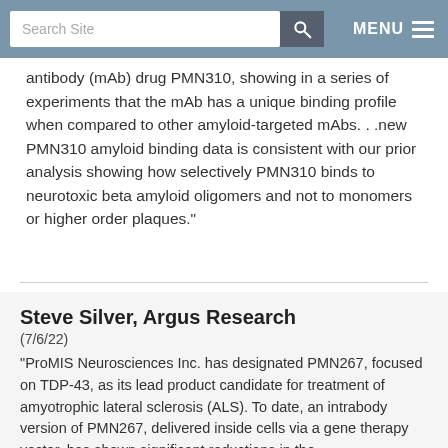Search Site | MENU
antibody (mAb) drug PMN310, showing in a series of experiments that the mAb has a unique binding profile when compared to other amyloid-targeted mAbs. . .new PMN310 amyloid binding data is consistent with our prior analysis showing how selectively PMN310 binds to neurotoxic beta amyloid oligomers and not to monomers or higher order plaques."
Steve Silver, Argus Research
(7/6/22)
"ProMIS Neurosciences Inc. has designated PMN267, focused on TDP-43, as its lead product candidate for treatment of amyotrophic lateral sclerosis (ALS). To date, an intrabody version of PMN267, delivered inside cells via a gene therapy vector, has shown significant reductions in the